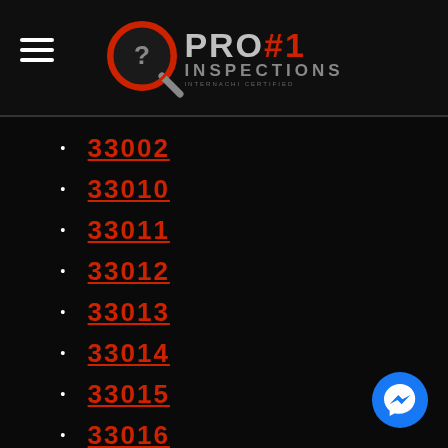PRO #1 INSPECTIONS
33002
33010
33011
33012
33013
33014
33015
33016
33017
33018
33030
33031
33032
33033